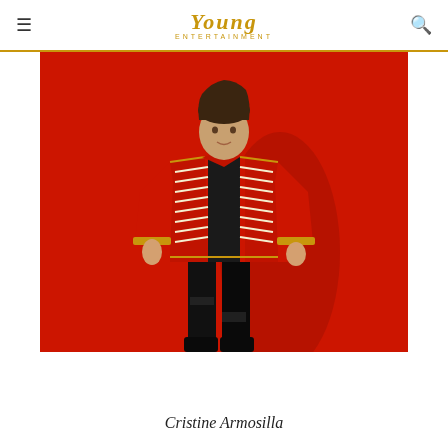Young Entertainment
[Figure (photo): Person wearing a red military-style jacket with gold and white trim/braiding over black clothing, standing against a vivid red background. The figure's hands are near their waist, and they are wearing dark ripped jeans.]
Cristine Armosilla